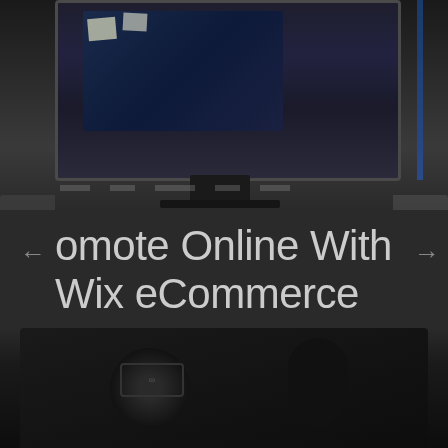[Figure (photo): Dark-toned photo of a computer monitor with a dark blue screen, showing website/ecommerce content, partially cropped]
…omote Online With Wix eCommerce
Judy  August 19, 2022
[Figure (photo): Dark close-up photo of a camera or electronic device with visible logo/branding]